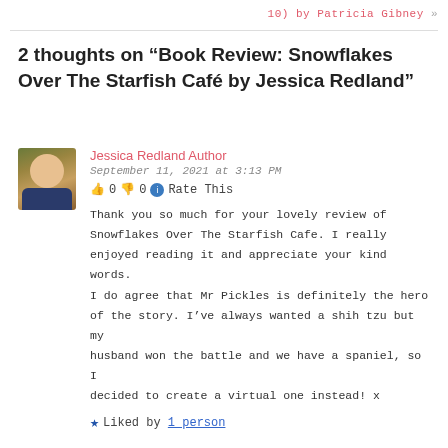10) by Patricia Gibney »
2 thoughts on “Book Review: Snowflakes Over The Starfish Café by Jessica Redland”
Jessica Redland Author
September 11, 2021 at 3:13 PM
👍 0 👎 0 ℹ Rate This
Thank you so much for your lovely review of Snowflakes Over The Starfish Cafe. I really enjoyed reading it and appreciate your kind words. I do agree that Mr Pickles is definitely the hero of the story. I've always wanted a shih tzu but my husband won the battle and we have a spaniel, so I decided to create a virtual one instead! x
★ Liked by 1 person